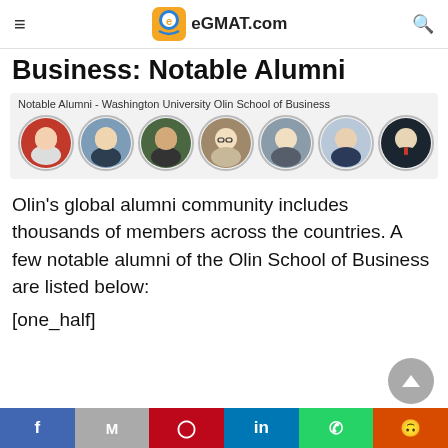eGMAT.com
Business: Notable Alumni
[Figure (photo): Row of 7 circular portrait photos of notable alumni from Washington University Olin School of Business, with caption: Notable Alumni - Washington University Olin School of Business]
Olin's global alumni community includes thousands of members across the countries. A few notable alumni of the Olin School of Business are listed below:
[one_half]
Facebook | Gmail | Pinterest | LinkedIn | WhatsApp | Reddit